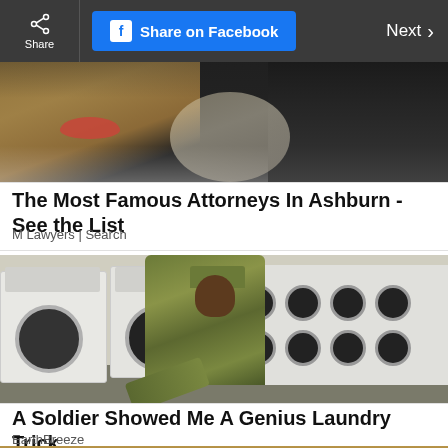Share | Share on Facebook | Next >
[Figure (photo): Partial cropped image showing two women, one with blonde hair and red lips, another in dark clothing]
The Most Famous Attorneys In Ashburn - See the List
M Lawyers | Search
[Figure (photo): A soldier in camouflage uniform bending down to use a front-loading washing machine in a laundromat with a row of washers and dryers]
A Soldier Showed Me A Genius Laundry Trick
EarthBreeze
[Figure (photo): Partial image at bottom of page, appears to show sandy terrain or landscape]